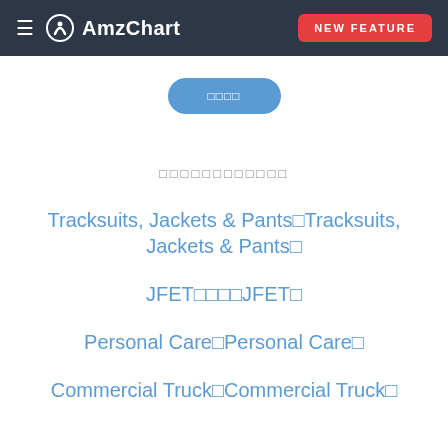≡ AmzChart  NEW FEATURE
□□□□
□□□□□□□□□□□□
Tracksuits, Jackets & Pants□Tracksuits, Jackets & Pants□
JFET□□□□JFET□
Personal Care□Personal Care□
Commercial Truck□Commercial Truck□